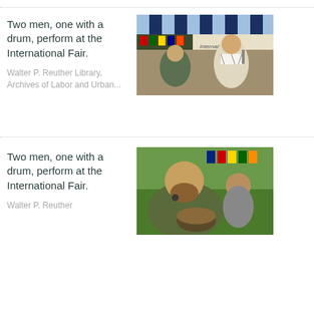[Figure (photo): Two men performing at the International Fair under a striped tent, with one man holding a microphone and wearing a keffiyeh, and flags visible in the background. A banner reads 'International Fair'.]
Two men, one with a drum, perform at the International Fair.
Walter P. Reuther Library, Archives of Labor and Urban...
[Figure (photo): Closeup of a man with a beard singing or performing at the International Fair, holding a drum, with another man and colorful flags visible behind him.]
Two men, one with a drum, perform at the International Fair.
Walter P. Reuther